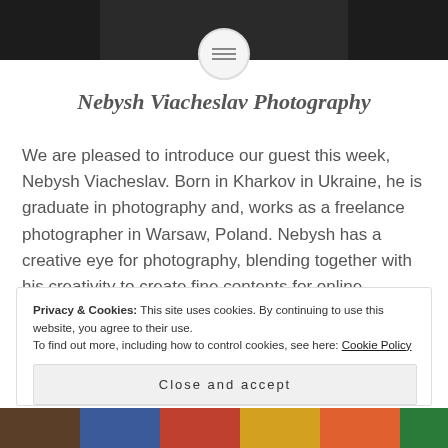[Figure (photo): Dark top photo strip showing a person's face/head against a dark background, with a circular logo/icon in the center bottom of the strip]
Nebysh Viacheslav Photography
We are pleased to introduce our guest this week, Nebysh Viacheslav. Born in Kharkov in Ukraine, he is graduate in photography and, works as a freelance photographer in Warsaw, Poland. Nebysh has a creative eye for photography, blending together with his creativity to create fine contents for online
Privacy & Cookies: This site uses cookies. By continuing to use this website, you agree to their use.
To find out more, including how to control cookies, see here: Cookie Policy
Close and accept
[Figure (photo): Colorful bottom photo strip with vibrant colors]